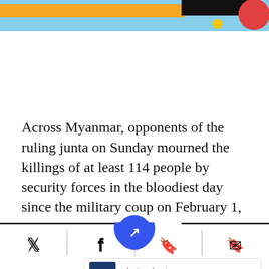[Figure (screenshot): Website header bar with light blue background, orange rectangle on left, black rectangle and red circle on top right, yellow dot below]
Across Myanmar, opponents of the ruling junta on Sunday mourned the killings of at least 114 people by security forces in the bloodiest day since the military coup on February 1, but vowed to keep protesting to end army rule.
[Figure (screenshot): Mobile website bottom navigation bar with Twitter, Facebook, NPR logo (blue circle), bookmark, and email icons, plus an advertisement banner for Petco showing in-store shopping and curbside pickup options]